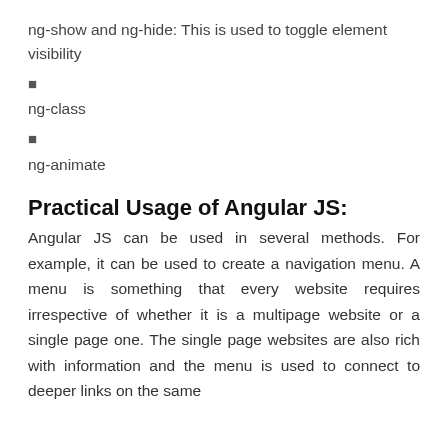ng-show and ng-hide: This is used to toggle element visibility
ng-class
ng-animate
Practical Usage of Angular JS:
Angular JS can be used in several methods. For example, it can be used to create a navigation menu. A menu is something that every website requires irrespective of whether it is a multipage website or a single page one. The single page websites are also rich with information and the menu is used to connect to deeper links on the same